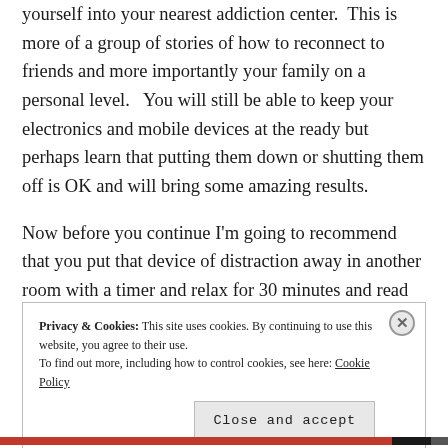yourself into your nearest addiction center.  This is more of a group of stories of how to reconnect to friends and more importantly your family on a personal level.   You will still be able to keep your electronics and mobile devices at the ready but perhaps learn that putting them down or shutting them off is OK and will bring some amazing results.
Now before you continue I'm going to recommend that you put that device of distraction away in another room with a timer and relax for 30 minutes and read
Privacy & Cookies: This site uses cookies. By continuing to use this website, you agree to their use.
To find out more, including how to control cookies, see here: Cookie Policy
Close and accept